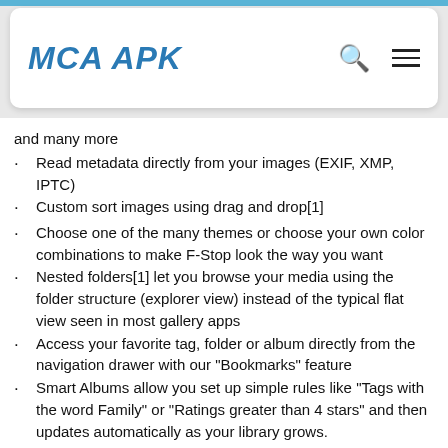MCA APK
and many more
Read metadata directly from your images (EXIF, XMP, IPTC)
Custom sort images using drag and drop[1]
Choose one of the many themes or choose your own color combinations to make F-Stop look the way you want
Nested folders[1] let you browse your media using the folder structure (explorer view) instead of the typical flat view seen in most gallery apps
Access your favorite tag, folder or album directly from the navigation drawer with our "Bookmarks" feature
Smart Albums allow you set up simple rules like "Tags with the word Family" or "Ratings greater than 4 stars" and then updates automatically as your library grows.
Exclude folders easily to prevent album art from showing up in your gallery
Easily plays animated GIFs
Share and/or edit with popular apps like Snapseed, Whatsapp, Facebook, Twitter, Flickr and more
Hide images and videos from other apps with pase...